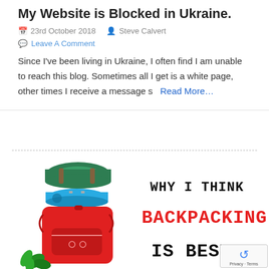My Website is Blocked in Ukraine.
23rd October 2018   Steve Calvert
Leave A Comment
Since I've been living in Ukraine, I often find I am unable to reach this blog. Sometimes all I get is a white page, other times I receive a message s   Read More…
[Figure (illustration): Cartoon illustration of a large red backpacking backpack with a rolled green sleeping bag and rolled blue sleeping mat strapped on top, with a small green plant at the bottom left.]
WHY I THINK BACKPACKING IS BEST